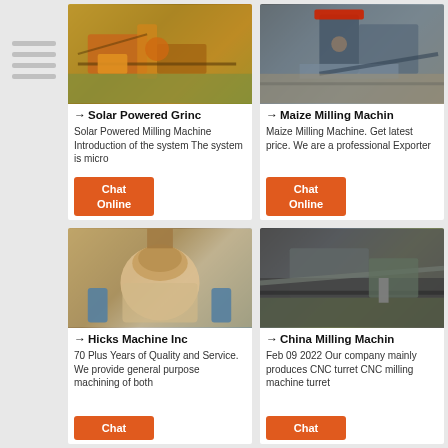[Figure (photo): Yellow mining/crushing machinery at an outdoor site]
→ Solar Powered Grinc
Solar Powered Milling Machine Introduction of the system The system is micro
[Figure (photo): Blue-gray industrial milling/crushing machine at an outdoor site]
→ Maize Milling Machin
Maize Milling Machine. Get latest price. We are a professional Exporter
[Figure (photo): Rust-colored cone crusher machine with blue pipes]
→ Hicks Machine Inc
70 Plus Years of Quality and Service. We provide general purpose machining of both
[Figure (photo): Dark industrial milling machine site with conveyors]
→ China Milling Machin
Feb 09 2022  Our company mainly produces CNC turret CNC milling machine turret